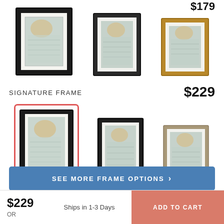$179
[Figure (photo): Three framed artwork options in top row: black frame, dark gray frame, gold/tan frame]
SIGNATURE FRAME
$229
[Figure (photo): Three framed artwork options in bottom row: selected black frame (highlighted with red/pink border), black frame, silver/tan frame]
SEE MORE FRAME OPTIONS ›
$229
OR
Ships in 1-3 Days
ADD TO CART